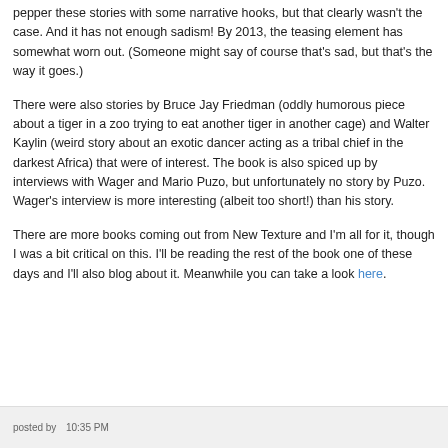pepper these stories with some narrative hooks, but that clearly wasn't the case. And it has not enough sadism! By 2013, the teasing element has somewhat worn out. (Someone might say of course that's sad, but that's the way it goes.)
There were also stories by Bruce Jay Friedman (oddly humorous piece about a tiger in a zoo trying to eat another tiger in another cage) and Walter Kaylin (weird story about an exotic dancer acting as a tribal chief in the darkest Africa) that were of interest. The book is also spiced up by interviews with Wager and Mario Puzo, but unfortunately no story by Puzo. Wager's interview is more interesting (albeit too short!) than his story.
There are more books coming out from New Texture and I'm all for it, though I was a bit critical on this. I'll be reading the rest of the book one of these days and I'll also blog about it. Meanwhile you can take a look here.
posted by 10:35 PM